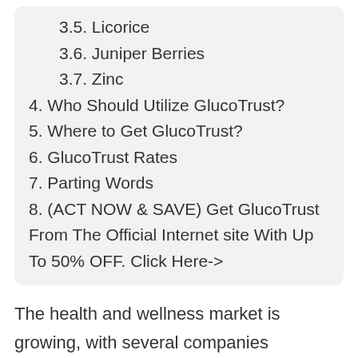3.5. Licorice
3.6. Juniper Berries
3.7. Zinc
4. Who Should Utilize GlucoTrust?
5. Where to Get GlucoTrust?
6. GlucoTrust Rates
7. Parting Words
8. (ACT NOW & SAVE) Get GlucoTrust From The Official Internet site With Up To 50% OFF. Click Here->
The health and wellness market is growing, with several companies producing their very own supplements. There are numerous products for blood sugar assistance that boost your blood glucose degrees. Today, we will certainly speak about one such product called GlucoTrust, which is